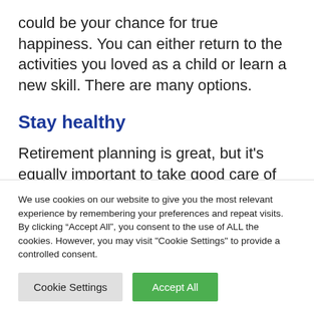could be your chance for true happiness. You can either return to the activities you loved as a child or learn a new skill. There are many options.
Stay healthy
Retirement planning is great, but it's equally important to take good care of
We use cookies on our website to give you the most relevant experience by remembering your preferences and repeat visits. By clicking “Accept All”, you consent to the use of ALL the cookies. However, you may visit "Cookie Settings" to provide a controlled consent.